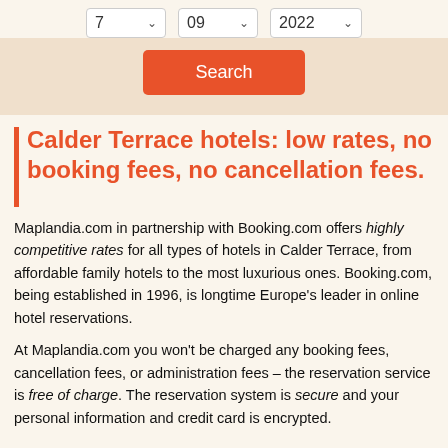[Figure (screenshot): Date selector dropdowns showing values 7, 09, 2022 with a Search button below on a beige/tan background]
Calder Terrace hotels: low rates, no booking fees, no cancellation fees.
Maplandia.com in partnership with Booking.com offers highly competitive rates for all types of hotels in Calder Terrace, from affordable family hotels to the most luxurious ones. Booking.com, being established in 1996, is longtime Europe's leader in online hotel reservations.
At Maplandia.com you won't be charged any booking fees, cancellation fees, or administration fees – the reservation service is free of charge. The reservation system is secure and your personal information and credit card is encrypted.